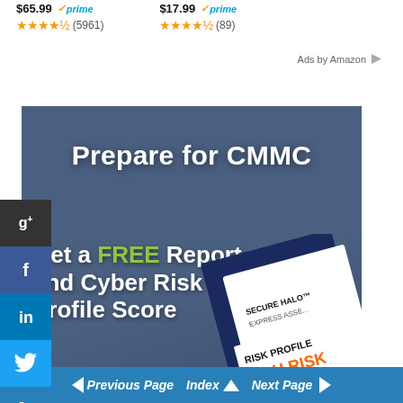$65.99 prime (5961)
$17.99 prime (89)
Ads by Amazon
[Figure (screenshot): Advertisement banner: 'Prepare for CMMC — Get a FREE Report and Cyber Risk Profile Score' with a book showing RISK PROFILE HIGH RISK label, dark blue background.]
Previous Page  Index  Next Page